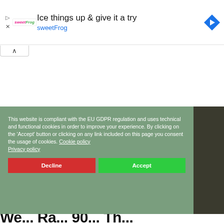[Figure (screenshot): Advertisement banner for sweetFrog frozen yogurt. Logo with 'sweetFrog' in pink and green italic text. Headline: 'Ice things up & give it a try'. Brand name 'sweetFrog' in blue. Blue diamond navigation arrow icon on right.]
This website is compliant with the EU GDPR regulation and uses technical and functional cookies in order to improve your experience. By clicking on the 'Accept' button or clicking on any link included on this page you consent the usage of cookies. Cookie policy
Privacy policy
Decline
Accept